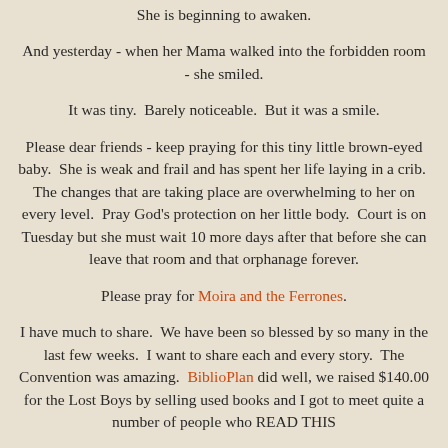She is beginning to awaken.
And yesterday - when her Mama walked into the forbidden room - she smiled.
It was tiny.  Barely noticeable.  But it was a smile.
Please dear friends - keep praying for this tiny little brown-eyed baby.  She is weak and frail and has spent her life laying in a crib.  The changes that are taking place are overwhelming to her on every level.  Pray God's protection on her little body.  Court is on Tuesday but she must wait 10 more days after that before she can leave that room and that orphanage forever.
Please pray for Moira and the Ferrones.
I have much to share.  We have been so blessed by so many in the last few weeks.  I want to share each and every story.  The Convention was amazing.  BiblioPlan did well, we raised $140.00 for the Lost Boys by selling used books and I got to meet quite a number of people who READ THIS